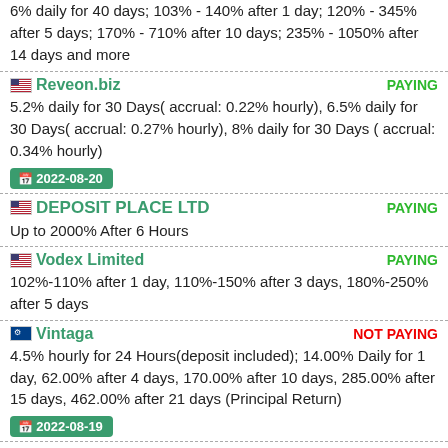6% daily for 40 days; 103% - 140% after 1 day; 120% - 345% after 5 days; 170% - 710% after 10 days; 235% - 1050% after 14 days and more
Reveon.biz — PAYING
5.2% daily for 30 Days( accrual: 0.22% hourly), 6.5% daily for 30 Days( accrual: 0.27% hourly), 8% daily for 30 Days ( accrual: 0.34% hourly)
2022-08-20
DEPOSIT PLACE LTD — PAYING
Up to 2000% After 6 Hours
Vodex Limited — PAYING
102%-110% after 1 day, 110%-150% after 3 days, 180%-250% after 5 days
Vintaga — NOT PAYING
4.5% hourly for 24 Hours(deposit included); 14.00% Daily for 1 day, 62.00% after 4 days, 170.00% after 10 days, 285.00% after 15 days, 462.00% after 21 days (Principal Return)
2022-08-19
AMR-Invest.com — NOT PAYING
2.2% daily for 3 Days, 2.5% daily for 7 Days, 3.3% daily for 21 Days